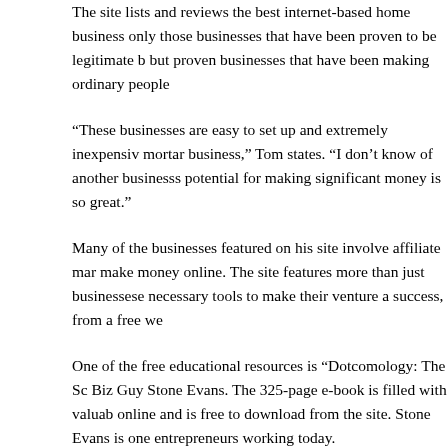The site lists and reviews the best internet-based home businesses, only those businesses that have been proven to be legitimate businesses, but proven businesses that have been making ordinary people
“These businesses are easy to set up and extremely inexpensive compared to a brick and mortar business,” Tom states. “I don’t know of another business where the potential for making significant money is so great.”
Many of the businesses featured on his site involve affiliate marketing as a way to make money online. The site features more than just businesses but provides all the necessary tools to make their venture a success, from a free we...
One of the free educational resources is “Dotcomology: The Sc... Biz Guy Stone Evans. The 325-page e-book is filled with valuable information about doing business online and is free to download from the site. Stone Evans is one of the leading internet entrepreneurs working today.
In addition, visitors to the site can sign up for Tom’s free daily newsletter. The newsletter is packed with tips and strategies for making the most of online business, subscribers via e-mail for a year.